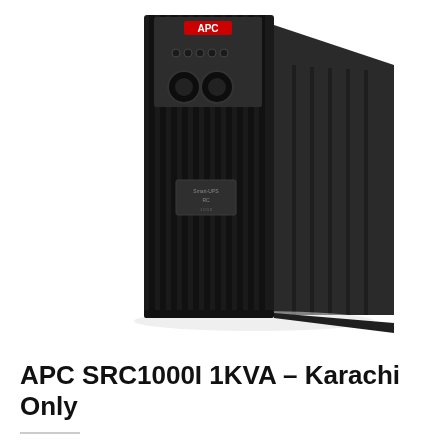[Figure (photo): APC SRC1000I UPS device — a black tower UPS unit with vertical ribbed vents on the front and right side panels, two circular ports visible near the top-center front, a small label in the middle, and the red APC logo visible at the top. The unit is photographed at a slight angle showing the front and right side.]
APC SRC1000I 1KVA – Karachi Only